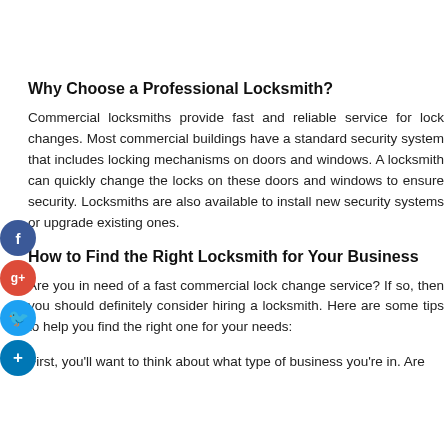Why Choose a Professional Locksmith?
Commercial locksmiths provide fast and reliable service for lock changes. Most commercial buildings have a standard security system that includes locking mechanisms on doors and windows. A locksmith can quickly change the locks on these doors and windows to ensure security. Locksmiths are also available to install new security systems or upgrade existing ones.
How to Find the Right Locksmith for Your Business
Are you in need of a fast commercial lock change service? If so, then you should definitely consider hiring a locksmith. Here are some tips to help you find the right one for your needs:
First, you'll want to think about what type of business you're in. Are